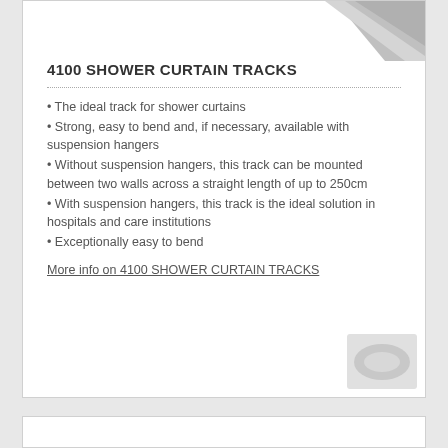[Figure (photo): Partial view of a shower curtain track product image in top-right corner (grey/silver metallic component)]
4100 SHOWER CURTAIN TRACKS
The ideal track for shower curtains
Strong, easy to bend and, if necessary, available with suspension hangers
Without suspension hangers, this track can be mounted between two walls across a straight length of up to 250cm
With suspension hangers, this track is the ideal solution in hospitals and care institutions
Exceptionally easy to bend
More info on 4100 SHOWER CURTAIN TRACKS
[Figure (photo): Partial view of a shower curtain track product image in bottom-right corner (grey/silver metallic component)]